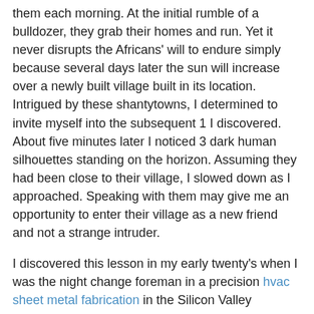them each morning. At the initial rumble of a bulldozer, they grab their homes and run. Yet it never disrupts the Africans' will to endure simply because several days later the sun will increase over a newly built village built in its location. Intrigued by these shantytowns, I determined to invite myself into the subsequent 1 I discovered. About five minutes later I noticed 3 dark human silhouettes standing on the horizon. Assuming they had been close to their village, I slowed down as I approached. Speaking with them may give me an opportunity to enter their village as a new friend and not a strange intruder.
I discovered this lesson in my early twenty's when I was the night change foreman in a precision hvac sheet metal fabrication in the Silicon Valley throughout the initial electronics increase of the 70's. The proprietor of the shop had employed a new brake operator who said that he experienced twenty years of encounter doing the job. In this shop scenario we did many little operate work so there was always a lot of setting up the machines needed